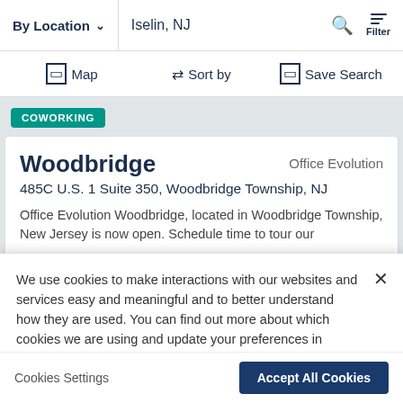By Location | Iselin, NJ | Filter
Map | Sort by | Save Search
COWORKING
Woodbridge
Office Evolution
485C U.S. 1 Suite 350, Woodbridge Township, NJ
Office Evolution Woodbridge, located in Woodbridge Township, New Jersey is now open. Schedule time to tour our
We use cookies to make interactions with our websites and services easy and meaningful and to better understand how they are used. You can find out more about which cookies we are using and update your preferences in Cookies Settings. By clicking “Accept All Cookies,” you are agreeing to our use of cookies. Cookie Notice.
Cookies Settings
Accept All Cookies